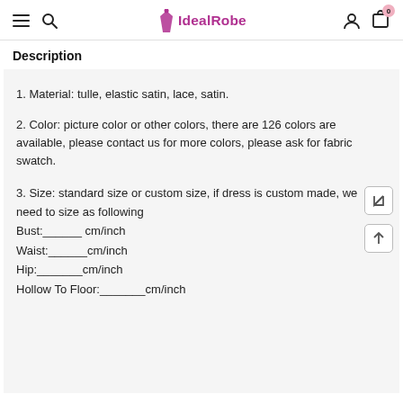IdealRobe
Description
1. Material: tulle, elastic satin, lace, satin.
2. Color: picture color or other colors, there are 126 colors are available, please contact us for more colors, please ask for fabric swatch.
3. Size: standard size or custom size, if dress is custom made, we need to size as following
Bust:______ cm/inch
Waist:______cm/inch
Hip:_______cm/inch
Hollow To Floor:_______cm/inch